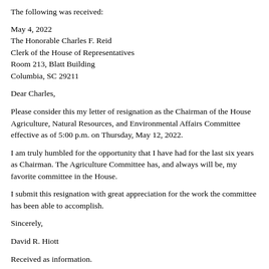The following was received:
May 4, 2022
The Honorable Charles F. Reid
Clerk of the House of Representatives
Room 213, Blatt Building
Columbia, SC 29211
Dear Charles,
Please consider this my letter of resignation as the Chairman of the House Agriculture, Natural Resources, and Environmental Affairs Committee effective as of 5:00 p.m. on Thursday, May 12, 2022.
I am truly humbled for the opportunity that I have had for the last six years as Chairman. The Agriculture Committee has, and always will be, my favorite committee in the House.
I submit this resignation with great appreciation for the work the committee has been able to accomplish.
Sincerely,
David R. Hiott
Received as information.